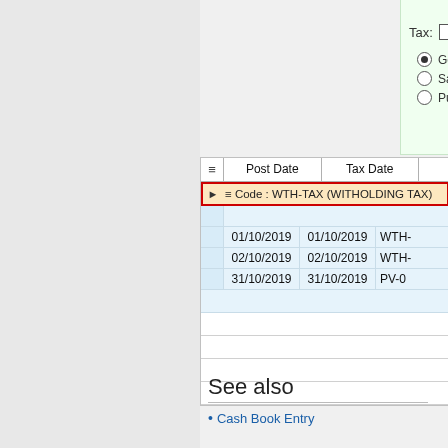[Figure (screenshot): Software UI screenshot showing a form with Tax field (checkbox + dropdown), radio buttons for General Ledger, Sales Ledger, Purchase Ledger, and a data grid with columns Post Date and Tax Date. The grid shows a grouped row highlighted in red border: 'Code : WTH-TAX (WITHOLDING TAX)' with three data rows: 01/10/2019, 02/10/2019, 31/10/2019 each with matching Tax Dates and partial reference codes WTH-, WTH-, PV-0.]
See also
Cash Book Entry